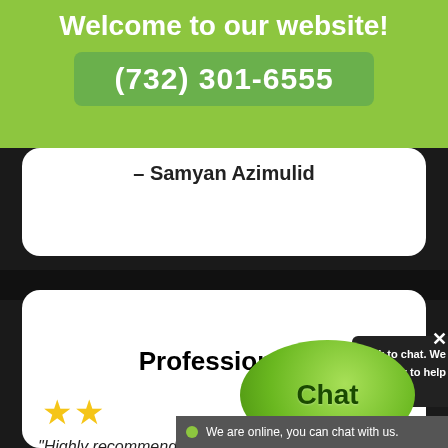Welcome to our website!
(732) 301-6555
- Samyan Azimulid
Professionals
★★
"Highly recommend this company. Everyone was p...
[Figure (screenshot): Live chat bubble overlay with 'Chat' label, 'Click to chat. We are ready to help you.' panel, and 'We are online, you can chat with us.' status bar]